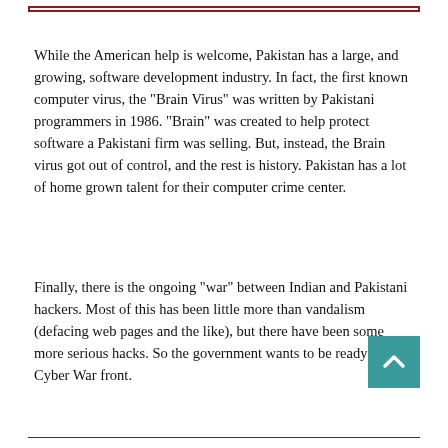While the American help is welcome, Pakistan has a large, and growing, software development industry. In fact, the first known computer virus, the "Brain Virus" was written by Pakistani programmers in 1986. "Brain" was created to help protect software a Pakistani firm was selling. But, instead, the Brain virus got out of control, and the rest is history. Pakistan has a lot of home grown talent for their computer crime center.
Finally, there is the ongoing "war" between Indian and Pakistani hackers. Most of this has been little more than vandalism (defacing web pages and the like), but there have been some more serious hacks. So the government wants to be ready on the Cyber War front.